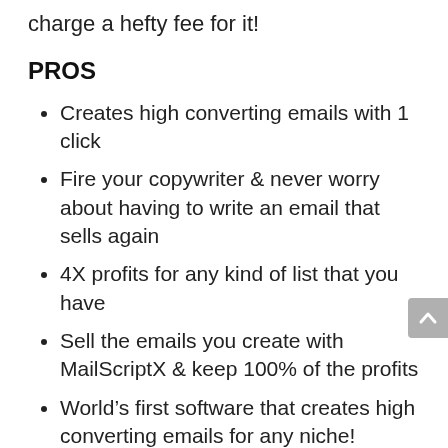charge a hefty fee for it!
PROS
Creates high converting emails with 1 click
Fire your copywriter & never worry about having to write an email that sells again
4X profits for any kind of list that you have
Sell the emails you create with MailScriptX & keep 100% of the profits
World's first software that creates high converting emails for any niche!
It is all cloud based, nothing to install, works on PC & Mac